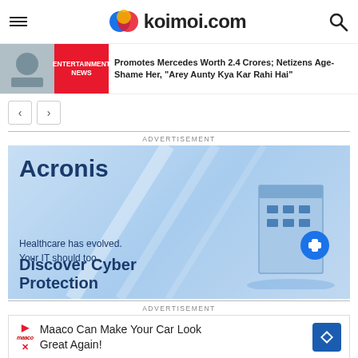koimoi.com
Promotes Mercedes Worth 2.4 Crores; Netizens Age-Shame Her, "Arey Aunty Kya Kar Rahi Hai"
ADVERTISEMENT
[Figure (screenshot): Acronis advertisement: 'Healthcare has evolved. Your IT should too. Discover Cyber Protection' with blue background and building illustration]
ADVERTISEMENT
[Figure (screenshot): Maaco advertisement: 'Maaco Can Make Your Car Look Great Again!']